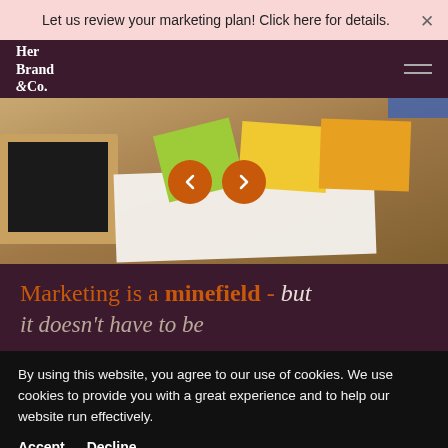Let us review your marketing plan! Click here for details.
[Figure (screenshot): Her Brand & Co. website navigation bar with logo on left and hamburger menu on right, on dark plum background]
[Figure (photo): Hero image showing colorful sticky notes (green, yellow, orange) on white paper on a wooden desk with a laptop, with orange navigation arrows overlaid]
Marketing is a minefield - but it doesn't have to be
By using this website, you agree to our use of cookies. We use cookies to provide you with a great experience and to help our website run effectively.
Accept   Decline